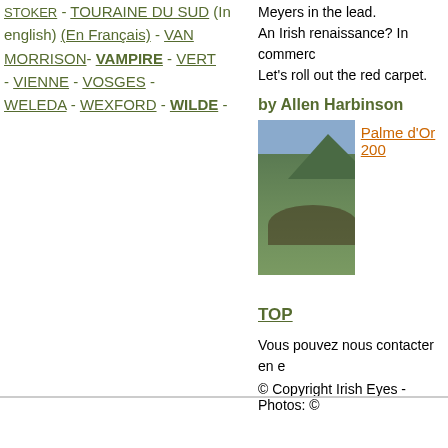STOKER - TOURAINE DU SUD (In english) (En Français) - VAN MORRISON - VAMPIRE - VERT - VIENNE - VOSGES - WELEDA - WEXFORD - WILDE -
Meyers in the lead. An Irish renaissance? In commerce... Let's roll out the red carpet.
by Allen Harbinson
[Figure (photo): Outdoor landscape photo showing people/figures in a green field with mountains in background]
Palme d'Or 200...
TOP
Vous pouvez nous contacter en e...
© Copyright Irish Eyes - Photos: ©